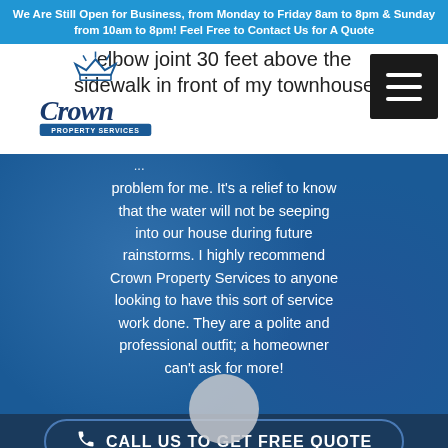We Are Still Open for Business, from Monday to Friday 8am to 8pm & Sunday from 10am to 8pm! Feel Free to Contact Us for A Quote
[Figure (screenshot): Partial text visible at top of white header area: 'elbow joint 30 feet above the sidewalk in front of my townhouse']
[Figure (logo): Crown Property Services logo - cursive script 'Crown' with crown icon above, 'PROPERTY SERVICES' text below on banner]
[Figure (other): Hamburger menu button (three horizontal lines) in dark/black square, positioned top right]
problem for me. It's a relief to know that the water will not be seeping into our house during future rainstorms. I highly recommend Crown Property Services to anyone looking to have this sort of service work done. They are a polite and professional outfit; a homeowner can't ask for more!
CALL US TO GET FREE QUOTE